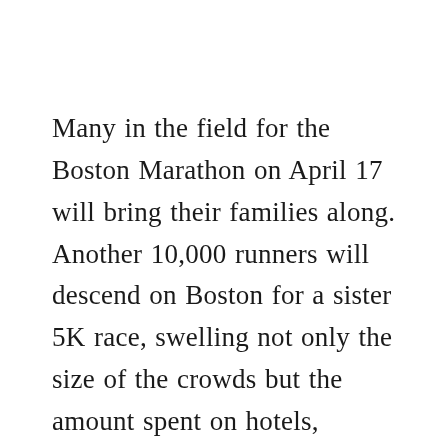Many in the field for the Boston Marathon on April 17 will bring their families along. Another 10,000 runners will descend on Boston for a sister 5K race, swelling not only the size of the crowds but the amount spent on hotels, restaurants, transportation and a weekend running expo hawking expensive gear and swag.